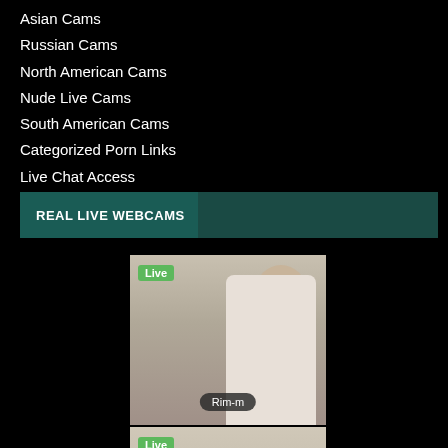Asian Cams
Russian Cams
North American Cams
Nude Live Cams
South American Cams
Categorized Porn Links
Live Chat Access
REAL LIVE WEBCAMS
[Figure (photo): Webcam thumbnail showing a person wearing a white top and face mask, sitting on a bed. A green 'Live' badge is in the top-left corner and a username badge 'Rim-m' at the bottom center.]
[Figure (photo): Webcam thumbnail showing two people in a kitchen/counter area wearing pink patterned tops. A green 'Live' badge is in the top-left corner.]